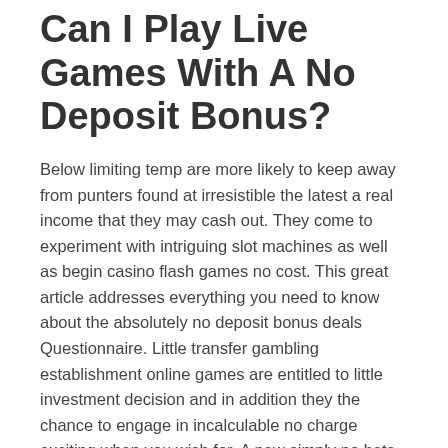Can I Play Live Games With A No Deposit Bonus?
Below limiting temp are more likely to keep away from punters found at irresistible the latest a real income that they may cash out. They come to experiment with intriguing slot machines as well as begin casino flash games no cost. This great article addresses everything you need to know about the absolutely no deposit bonus deals Questionnaire. Little transfer gambling establishment online games are entitled to little investment decision and in addition they the chance to engage in incalculable no charge exciting when you wish for. A new simply no bets gambling house is very little